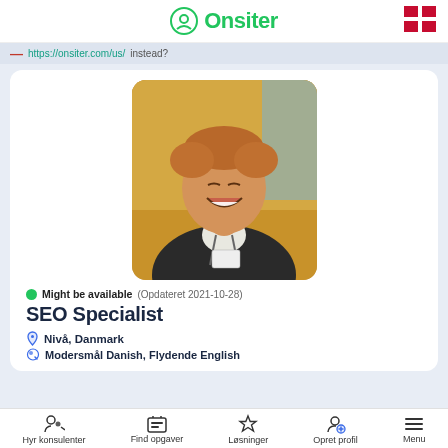Onsiter
https://onsiter.com/us/ instead?
[Figure (photo): Profile photo of a smiling man with reddish-blond hair, wearing a dark blazer and lanyard badge, in a conference setting]
Might be available (Opdateret 2021-10-28)
SEO Specialist
Nivå, Danmark
Modersmål Danish, Flydende English
Hyr konsulenter  Find opgaver  Løsninger  Opret profil  Menu